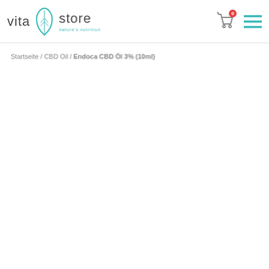[Figure (logo): Vita Store logo with teal leaf icon and tagline 'nature's nutrition']
Startseite / CBD Oil / Endoca CBD Öl 3% (10ml)